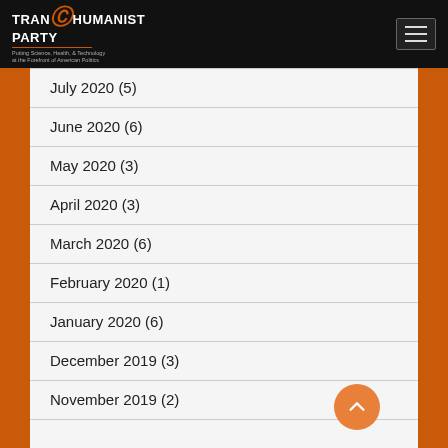TRANSHUMANIST PARTY — Putting Science, Health, & Technology at the Forefront of American Politics
July 2020 (5)
June 2020 (6)
May 2020 (3)
April 2020 (3)
March 2020 (6)
February 2020 (1)
January 2020 (6)
December 2019 (3)
November 2019 (2)